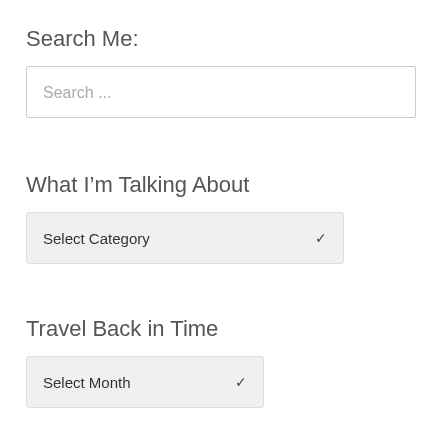Search Me:
[Figure (screenshot): Search input box with placeholder text 'Search ...']
What I'm Talking About
[Figure (screenshot): Dropdown selector with label 'Select Category' and a chevron arrow]
Travel Back in Time
[Figure (screenshot): Dropdown selector with label 'Select Month' and a chevron arrow]